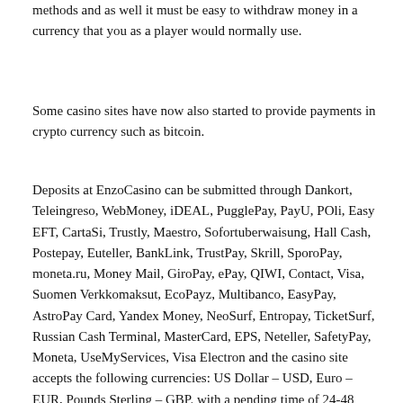methods and as well it must be easy to withdraw money in a currency that you as a player would normally use.
Some casino sites have now also started to provide payments in crypto currency such as bitcoin.
Deposits at EnzoCasino can be submitted through Dankort, Teleingreso, WebMoney, iDEAL, PugglePay, PayU, POli, Easy EFT, CartaSi, Trustly, Maestro, Sofortuberwaisung, Hall Cash, Postepay, Euteller, BankLink, TrustPay, Skrill, SporoPay, moneta.ru, Money Mail, GiroPay, ePay, QIWI, Contact, Visa, Suomen Verkkomaksut, EcoPayz, Multibanco, EasyPay, AstroPay Card, Yandex Money, NeoSurf, Entropay, TicketSurf, Russian Cash Terminal, MasterCard, EPS, Neteller, SafetyPay, Moneta, UseMyServices, Visa Electron and the casino site accepts the following currencies: US Dollar – USD, Euro – EUR, Pounds Sterling – GBP. with a pending time of 24-48 hours.